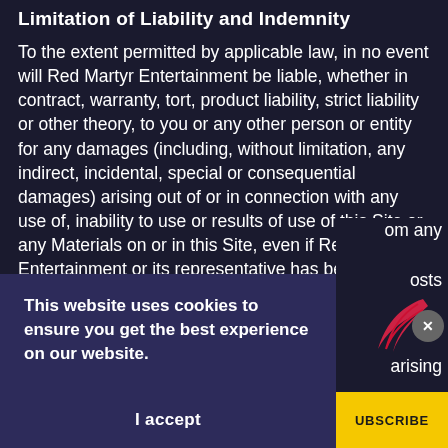Limitation of Liability and Indemnity
To the extent permitted by applicable law, in no event will Red Martyr Entertainment be liable, whether in contract, warranty, tort, product liability, strict liability or other theory, to you or any other person or entity for any damages (including, without limitation, any indirect, incidental, special or consequential damages) arising out of or in connection with any use of, inability to use or results of use of this Site or any Materials on or in this Site, even if Red Martyr Entertainment or its representative has been advised of the possibility of such damages. You agree to defend and … om any … osts … arising
This website uses cookies to ensure you get the best experience on our website.
I accept
UBSCRIBE